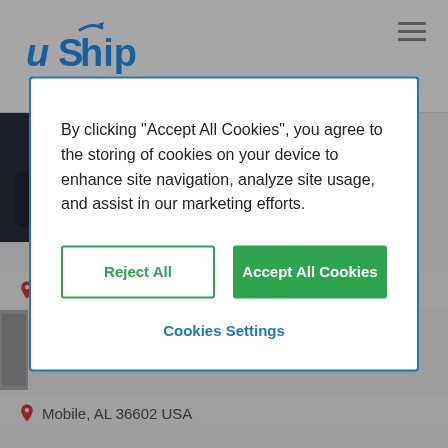[Figure (screenshot): uShip website header with logo and hamburger menu icon]
[Figure (photo): Partial profile photo of a person in dark clothing]
Earle, AR 72331 USA
By clicking “Accept All Cookies”, you agree to the storing of cookies on your device to enhance site navigation, analyze site usage, and assist in our marketing efforts.
Reject All
Accept All Cookies
Cookies Settings
Mobile, AL 36602 USA